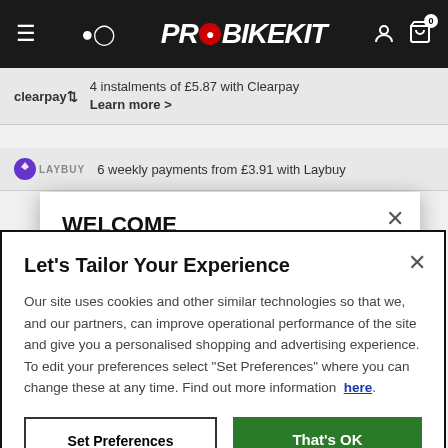[Figure (screenshot): ProBikeKit website navigation bar with hamburger menu, search icon, logo, user icon, and cart icon with 0 badge]
4 instalments of £5.87 with Clearpay Learn more >
6 weekly payments from £3.91 with Laybuy
WELCOME
It looks like you are in the USA, would you like to see our US site with $USD currency?
Let's Tailor Your Experience
Our site uses cookies and other similar technologies so that we, and our partners, can improve operational performance of the site and give you a personalised shopping and advertising experience. To edit your preferences select "Set Preferences" where you can change these at any time. Find out more information  here.
Set Preferences
That's OK